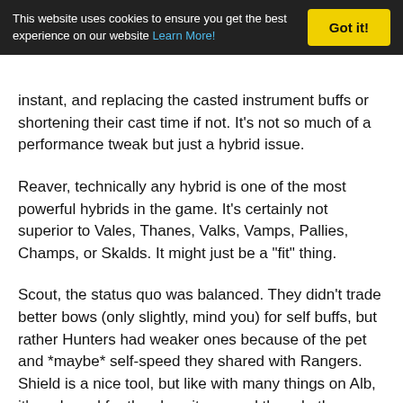This website uses cookies to ensure you get the best experience on our website Learn More! | Got it!
instant, and replacing the casted instrument buffs or shortening their cast time if not. It's not so much of a performance tweak but just a hybrid issue.
Reaver, technically any hybrid is one of the most powerful hybrids in the game. It's certainly not superior to Vales, Thanes, Valks, Vamps, Pallies, Champs, or Skalds. It might just be a "fit" thing.
Scout, the status quo was balanced. They didn't trade better bows (only slightly, mind you) for self buffs, but rather Hunters had weaker ones because of the pet and *maybe* self-speed they shared with Rangers. Shield is a nice tool, but like with many things on Alb, it's awkward for the class its on and the role they should be taking in a group.
The list is a list, so of course it drags on, but I similar lists for Mid and Hib specs that could use tune-ups.
Post edited by Ylazul on November 2018